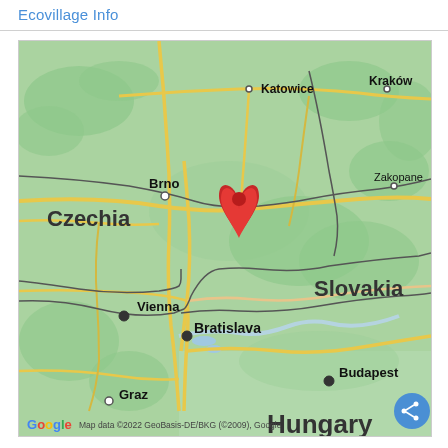Ecovillage Info
[Figure (map): Google Maps showing Central Europe including Czechia, Slovakia, parts of Austria, Poland, Hungary. A red location pin is placed in western Slovakia near the Czech/Slovak border, between Brno and Bratislava. Cities labeled: Katowice, Kraków, Zakopane, Czechia, Brno, Slovakia, Vienna, Bratislava, Budapest, Graz, Hungary. Google logo and copyright ©2022 GeoBasis-DE/BKG (©2009), Google visible at bottom.]